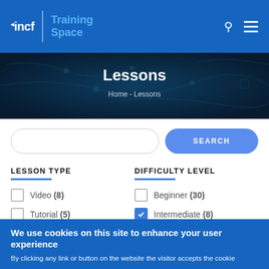incf | Training Space
Lessons
Home - Lessons
SEARCH
LESSON TYPE
DIFFICULTY LEVEL
Video (8)
Tutorial (5)
Beginner (30)
Intermediate (8)
We use cookies on this site to enhance your user experience
By clicking any link or button on the website the visitor accepts the cookie